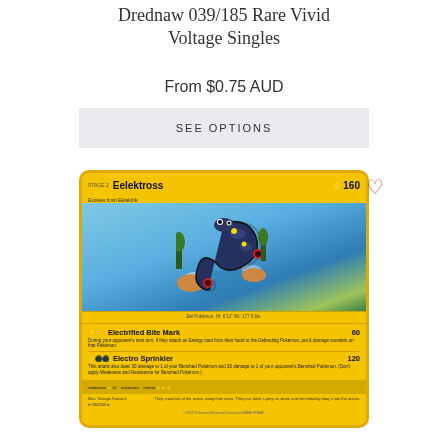Drednaw 039/185 Rare Vivid Voltage Singles
From $0.75 AUD
SEE OPTIONS
[Figure (illustration): Eelektross Pokémon trading card from Vivid Voltage set. Yellow-bordered card showing Eelektross (a large dark blue eel Pokémon) with 160 HP. Attacks: Electrified Bite Mark (60 damage) and Electro Sprinkler (120 damage).]